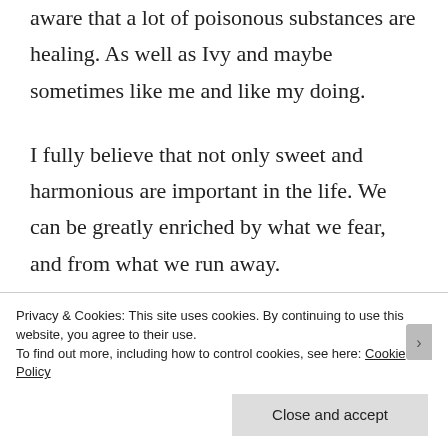aware that a lot of poisonous substances are healing. As well as Ivy and maybe sometimes like me and like my doing.
I fully believe that not only sweet and harmonious are important in the life. We can be greatly enriched by what we fear, and from what we run away.
Privacy & Cookies: This site uses cookies. By continuing to use this website, you agree to their use.
To find out more, including how to control cookies, see here: Cookie Policy